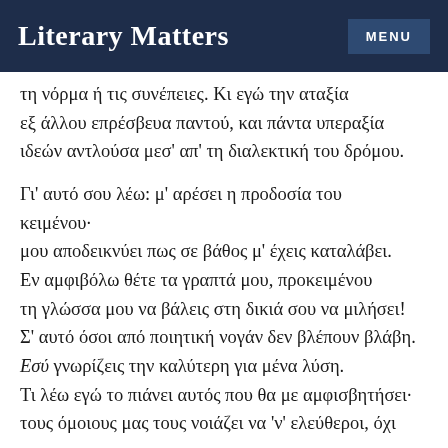Literary Matters | MENU
τη νόρμα ή τις συνέπειες. Κι εγώ την αταξία εξ άλλου επρέσβευα παντού, και πάντα υπεραξία ιδεών αντλούσα μεσ' απ' τη διαλεκτική του δρόμου.
Γι' αυτό σου λέω: μ' αρέσει η προδοσία του κειμένου· μου αποδεικνύει πως σε βάθος μ' έχεις καταλάβει. Εν αμφιβόλω θέτε τα γραπτά μου, προκειμένου τη γλώσσα μου να βάλεις στη δικιά σου να μιλήσει! Σ' αυτό όσοι από ποιητική νογάν δεν βλέπουν βλάβη. Εσύ γνωρίζεις την καλύτερη για μένα λύση. Τι λέω εγώ το πιάνει αυτός που θα με αμφισβητήσει· τους όμοιους μας τους νοιάζει να 'ν' ελεύθεροι, όχι